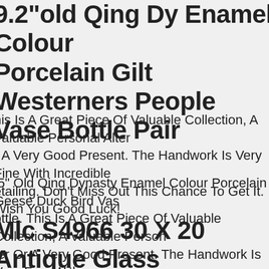9.2"old Qing Dy Enamel Colour Porcelain Gilt Westerners People Vase Bottle Pair
his Is A Great Piece Of Valuable Collection, A Valuable Personal Alter r A Very Good Present. The Handwork Is Very Fine With Incredible etailing. Don't Miss Out This Chance To Get It. Wish You Good Luck!
.5" Old Qing Dynasty Enamel Colour Porcelain Geese Duck Bird Vas ottle. This Is A Great Piece Of Valuable Collection, A Valuable Person ter Or A Very Good Present. The Handwork Is Very Fine With Incredible Detailing. Don't Miss Out This Chance To Get It. Wish You ood Luck!
Mlc S4966 30 X 20 Antique Glass rame (20) Old Woven Textiles rtifacts Relics